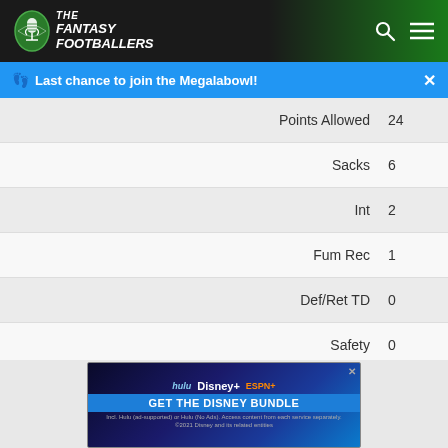[Figure (logo): The Fantasy Footballers logo with microphone icon and text]
Last chance to join the Megalabowl!
| Stat | Value |
| --- | --- |
| Points Allowed | 24 |
| Sacks | 6 |
| Int | 2 |
| Fum Rec | 1 |
| Def/Ret TD | 0 |
| Safety | 0 |
| Blocked Kick | 0 |
| Rank vs Pass | 9 |
[Figure (screenshot): Disney Bundle advertisement banner with Hulu, Disney+, ESPN+ logos and GET THE DISNEY BUNDLE CTA]